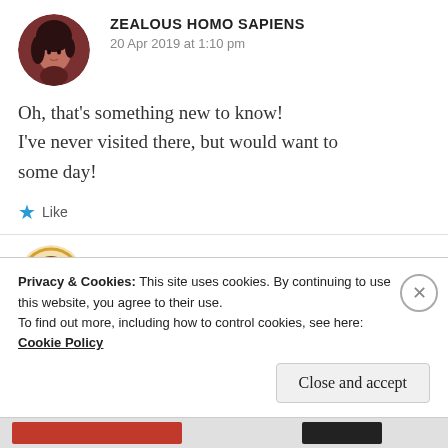[Figure (illustration): Circular avatar of a dark-haired anime-style person on a brownish-red background]
ZEALOUS HOMO SAPIENS
20 Apr 2019 at 1:10 pm
Oh, that's something new to know! I've never visited there, but would want to some day!
Like
[Figure (illustration): Circular avatar of a person with colorful floral decoration]
Privacy & Cookies: This site uses cookies. By continuing to use this website, you agree to their use. To find out more, including how to control cookies, see here: Cookie Policy
Close and accept